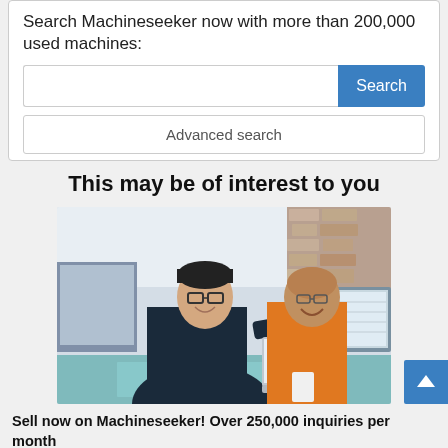Search Machineseeker now with more than 200,000 used machines:
[Figure (screenshot): Search input field with blue Search button]
[Figure (screenshot): Advanced search button]
This may be of interest to you
[Figure (photo): Two men smiling and looking at a laptop in an office/showroom setting. One man wearing dark jacket, the other in an orange shirt.]
Sell now on Machineseeker! Over 250,000 inquiries per month